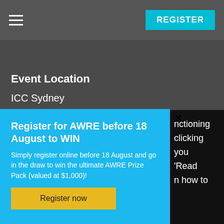REGISTER
Event Location
ICC Sydney
14 Darling Dr, Sydney
NSW 2009
nctioning
clicking
you
'Read
n how to
Register for AWRE before 18 August to WIN
Simply register online before 18 August and go in the draw to win the ultimate AWRE Prize Pack (valued at $1,000)!
Register now